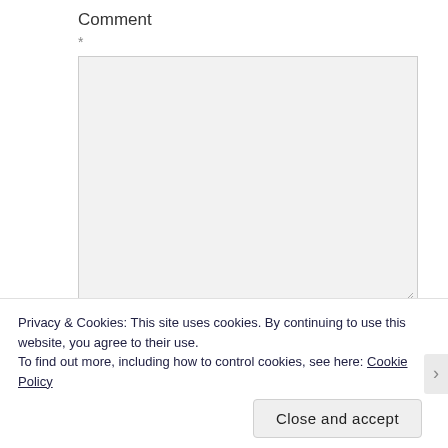Comment
*
[Figure (other): Empty textarea input box for comment entry with resize handle]
Name
Privacy & Cookies: This site uses cookies. By continuing to use this website, you agree to their use.
To find out more, including how to control cookies, see here: Cookie Policy
Close and accept